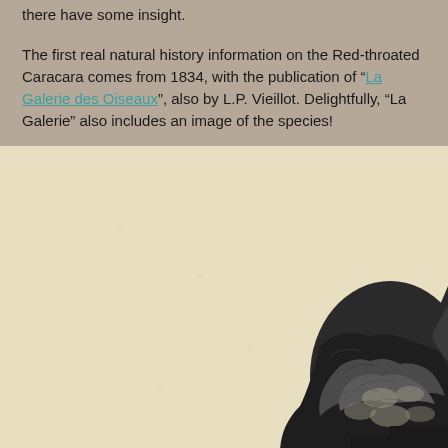there have some insight.
The first real natural history information on the Red-throated Caracara comes from 1834, with the publication of "La Galerie des Oiseaux", also by L.P. Vieillot. Delightfully, "La Galerie" also includes an image of the species!
[Figure (illustration): Historical engraving/illustration of a Red-throated Caracara bird, showing detailed feather patterns in black and white on a cream/ivory background. The bird is shown from the side-rear angle with intricate feather detail visible.]